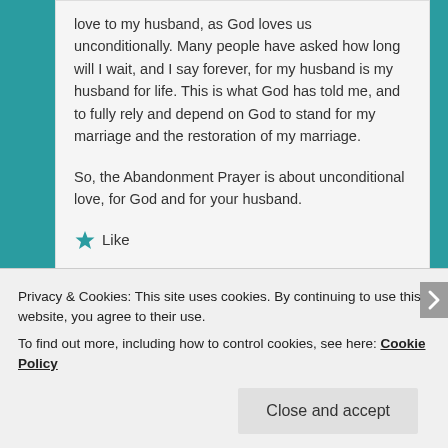love to my husband, as God loves us unconditionally. Many people have asked how long will I wait, and I say forever, for my husband is my husband for life. This is what God has told me, and to fully rely and depend on God to stand for my marriage and the restoration of my marriage.
So, the Abandonment Prayer is about unconditional love, for God and for your husband.
★ Like
Privacy & Cookies: This site uses cookies. By continuing to use this website, you agree to their use.
To find out more, including how to control cookies, see here: Cookie Policy
Close and accept